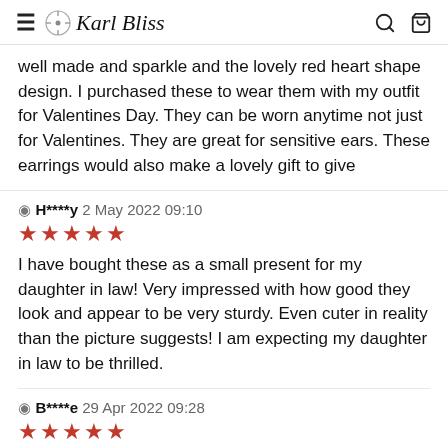Karl Bliss
well made and sparkle and the lovely red heart shape design. I purchased these to wear them with my outfit for Valentines Day. They can be worn anytime not just for Valentines. They are great for sensitive ears. These earrings would also make a lovely gift to give
H****y 2 May 2022 09:10 ★★★★★ I have bought these as a small present for my daughter in law! Very impressed with how good they look and appear to be very sturdy. Even cuter in reality than the picture suggests! I am expecting my daughter in law to be thrilled.
B****e 29 Apr 2022 09:28 ★★★★★ These are very pretty. I received compliments. I've only